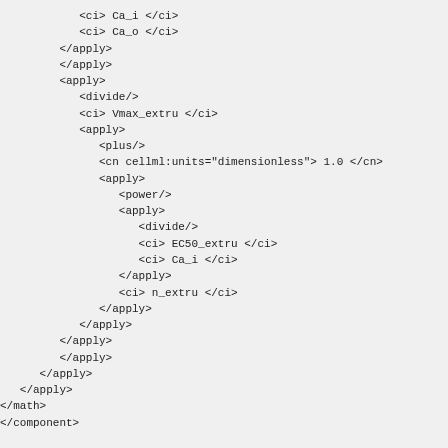<ci> Ca_i </ci>
            <ci> Ca_o </ci>
         </apply>
         </apply>
         <apply>
            <divide/>
            <ci> Vmax_extru </ci>
            <apply>
               <plus/>
               <cn cellml:units="dimensionless"> 1.0 </cn>
               <apply>
                  <power/>
                  <apply>
                     <divide/>
                     <ci> EC50_extru </ci>
                     <ci> Ca_i </ci>
                  </apply>
                  <ci> n_extru </ci>
               </apply>
            </apply>
         </apply>
         </apply>
      </apply>
   </apply>
</math>
</component>

<component cmeta:id="id_00012" name="Ca_uptake_by_SR_Ca_ATPase"
   <variable cmeta:id="id_00028" name="J_SERCA" public_interface